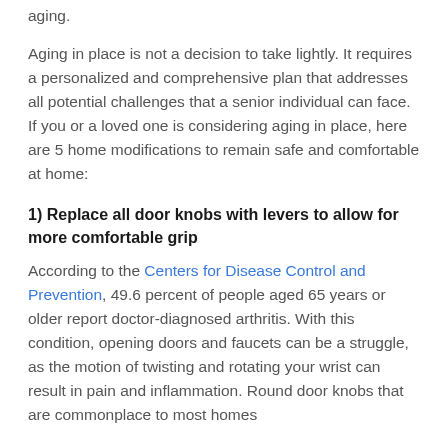aging.
Aging in place is not a decision to take lightly. It requires a personalized and comprehensive plan that addresses all potential challenges that a senior individual can face. If you or a loved one is considering aging in place, here are 5 home modifications to remain safe and comfortable at home:
1) Replace all door knobs with levers to allow for more comfortable grip
According to the Centers for Disease Control and Prevention, 49.6 percent of people aged 65 years or older report doctor-diagnosed arthritis. With this condition, opening doors and faucets can be a struggle, as the motion of twisting and rotating your wrist can result in pain and inflammation. Round door knobs that are commonplace to most homes